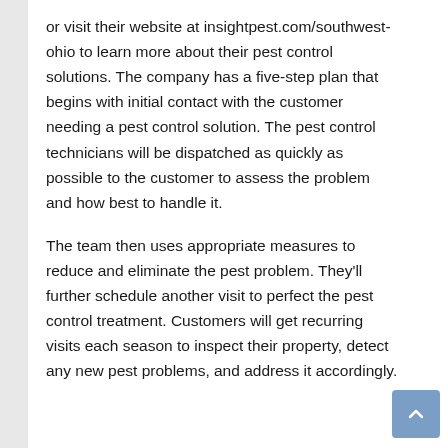or visit their website at insightpest.com/southwest-ohio to learn more about their pest control solutions. The company has a five-step plan that begins with initial contact with the customer needing a pest control solution. The pest control technicians will be dispatched as quickly as possible to the customer to assess the problem and how best to handle it.
The team then uses appropriate measures to reduce and eliminate the pest problem. They'll further schedule another visit to perfect the pest control treatment. Customers will get recurring visits each season to inspect their property, detect any new pest problems, and address it accordingly.